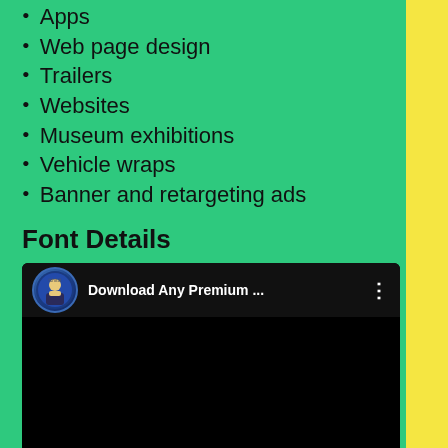Apps
Web page design
Trailers
Websites
Museum exhibitions
Vehicle wraps
Banner and retargeting ads
Font Details
[Figure (screenshot): Video player thumbnail showing 'Download Any Premium ...' with avatar icon and three-dot menu on black background]
| Name | Helvetica Neue Font |
| Style | Neo-grotesque sans-serif |
| Designer | Max Miedinger, Eduard Hoffmann |
| File Format | OTF, TTF |